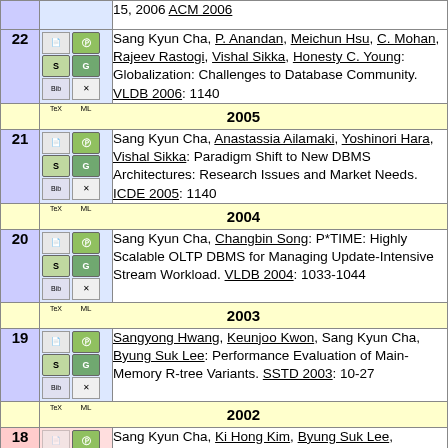15, 2006 ACM 2006
22 Sang Kyun Cha, P. Anandan, Meichun Hsu, C. Mohan, Rajeev Rastogi, Vishal Sikka, Honesty C. Young: Globalization: Challenges to Database Community. VLDB 2006: 1140
2005
21 Sang Kyun Cha, Anastassia Ailamaki, Yoshinori Hara, Vishal Sikka: Paradigm Shift to New DBMS Architectures: Research Issues and Market Needs. ICDE 2005: 1140
2004
20 Sang Kyun Cha, Changbin Song: P*TIME: Highly Scalable OLTP DBMS for Managing Update-Intensive Stream Workload. VLDB 2004: 1033-1044
2003
19 Sangyong Hwang, Keunjoo Kwon, Sang Kyun Cha, Byung Suk Lee: Performance Evaluation of Main-Memory R-tree Variants. SSTD 2003: 10-27
2002
18 Sang Kyun Cha, Ki Hong Kim, Byung Suk Lee, Changbin Song, Sangyong Hwang, Yong Sik Kwon: MEADOW...